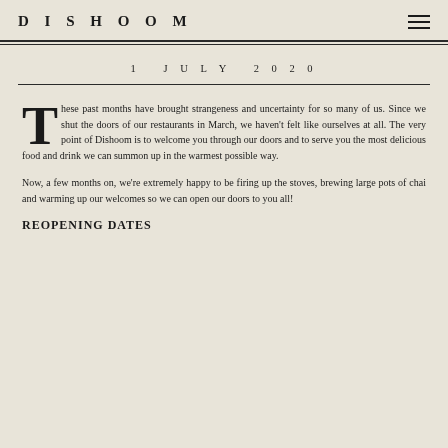DISHOOM
1 JULY 2020
These past months have brought strangeness and uncertainty for so many of us. Since we shut the doors of our restaurants in March, we haven't felt like ourselves at all. The very point of Dishoom is to welcome you through our doors and to serve you the most delicious food and drink we can summon up in the warmest possible way.
Now, a few months on, we're extremely happy to be firing up the stoves, brewing large pots of chai and warming up our welcomes so we can open our doors to you all!
REOPENING DATES